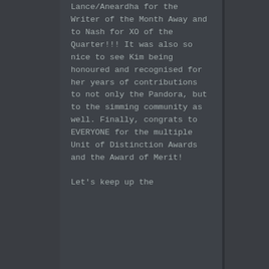Lance/Aneardha for the Writer of the Month Away and to Nash for XO of the Quarter!!! It was also so nice to see Kim being honoured and recognised for her years of contributions to not only the Pandora, but to the simming community as well. Finally, congrats to EVERYONE for the multiple Unit of Distinction Awards and the Award of Merit!
Let's keep up the